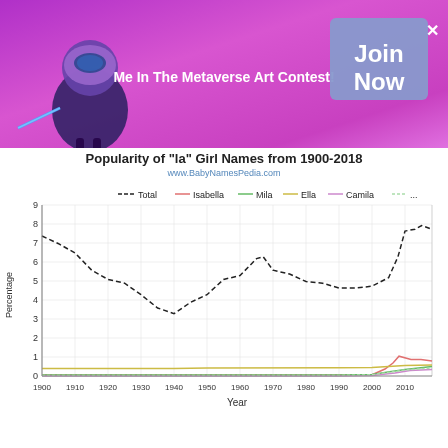[Figure (infographic): Banner with purple/pink gradient background, cartoon metaverse character on left, text 'Me In The Metaverse Art Contest!' in center, 'Join Now' box with X on upper right]
Popularity of "la" Girl Names from 1900-2018
www.BabyNamesPedia.com
[Figure (line-chart): Line chart showing percentage popularity of 'la' girl names from 1900 to 2018. Total (dashed black) starts ~7.4% in 1900, dips to ~3.3% around 1940, rises to ~6.2% in 1965, dips to ~4.6% around 1990, then rises sharply to ~8% by 2018. Individual names Isabella, Mila, Ella, Camila all near 0% until ~2000, then rise slightly to ~0.5-1.1%.]